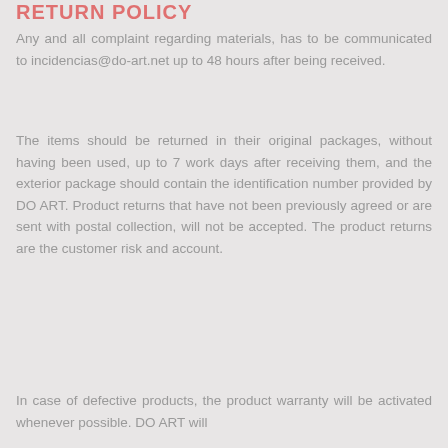RETURN POLICY
Any and all complaint regarding materials, has to be communicated to incidencias@do-art.net up to 48 hours after being received.
The items should be returned in their original packages, without having been used, up to 7 work days after receiving them, and the exterior package should contain the identification number provided by DO ART. Product returns that have not been previously agreed or are sent with postal collection, will not be accepted. The product returns are the customer risk and account.
In case of defective products, the product warranty will be activated whenever possible. DO ART will